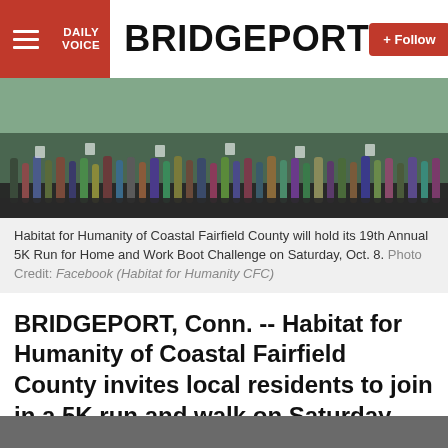DAILY VOICE   BRIDGEPORT   + Follow
[Figure (photo): Crowd of runners at the start of a 5K race, viewed from behind, standing on a paved road with trees in background]
Habitat for Humanity of Coastal Fairfield County will hold its 19th Annual 5K Run for Home and Work Boot Challenge on Saturday, Oct. 8. Photo Credit: Facebook (Habitat for Humanity CFC)
BRIDGEPORT, Conn. -- Habitat for Humanity of Coastal Fairfield County invites local residents to join in a 5K run and walk on Saturday, Oct. 8 in Bridgeport.
The 19th Annual 5K Run for Home and WorkBoot Challenge takes place at Seaside Park.